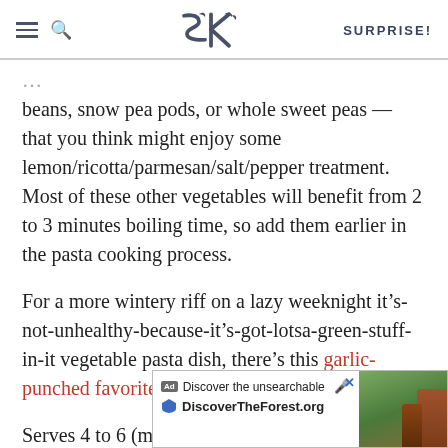SK — SURPRISE!
beans, snow pea pods, or whole sweet peas — that you think might enjoy some lemon/ricotta/parmesan/salt/pepper treatment. Most of these other vegetables will benefit from 2 to 3 minutes boiling time, so add them earlier in the pasta cooking process.
For a more wintery riff on a lazy weeknight it's-not-unhealthy-because-it's-got-lotsa-green-stuff-in-it vegetable pasta dish, there's this garlic-punched favorite.
Serves 4 to 6 (main course-style), up to 8 as a first course
[Figure (other): Advertisement banner for DiscoverTheForest.org with forest photo background, close button, and text 'Discover the unsearchable / DiscoverTheForest.org']